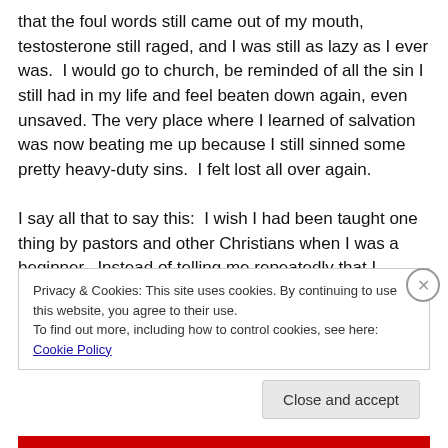that the foul words still came out of my mouth, testosterone still raged, and I was still as lazy as I ever was.  I would go to church, be reminded of all the sin I still had in my life and feel beaten down again, even unsaved.  The very place where I learned of salvation was now beating me up because I still sinned some pretty heavy-duty sins.  I felt lost all over again.

I say all that to say this:  I wish I had been taught one thing by pastors and other Christians when I was a beginner.  Instead of telling me repeatedly that I needed to quit
Privacy & Cookies: This site uses cookies. By continuing to use this website, you agree to their use.
To find out more, including how to control cookies, see here: Cookie Policy